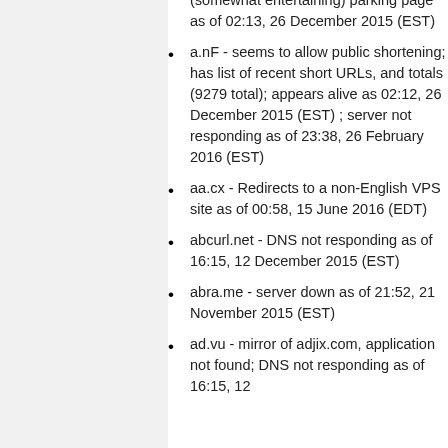(somewhat entertaining) parking page as of 02:13, 26 December 2015 (EST)
a.nF - seems to allow public shortening; has list of recent short URLs, and totals (9279 total); appears alive as 02:12, 26 December 2015 (EST) ; server not responding as of 23:38, 26 February 2016 (EST)
aa.cx - Redirects to a non-English VPS site as of 00:58, 15 June 2016 (EDT)
abcurl.net - DNS not responding as of 16:15, 12 December 2015 (EST)
abra.me - server down as of 21:52, 21 November 2015 (EST)
ad.vu - mirror of adjix.com, application not found; DNS not responding as of 16:15, 12